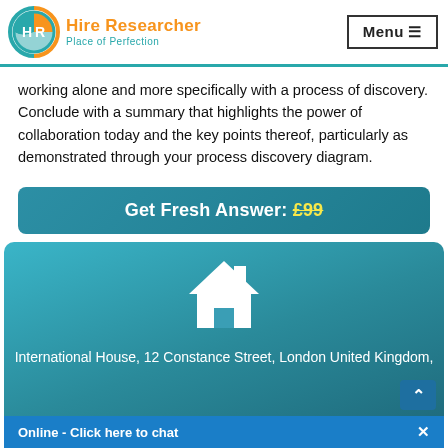[Figure (logo): Hire Researcher logo with circular HR emblem in blue and orange, text 'Hire Researcher' in orange and 'Place of Perfection' in teal]
working alone and more specifically with a process of discovery. Conclude with a summary that highlights the power of collaboration today and the key points thereof, particularly as demonstrated through your process discovery diagram.
Get Fresh Answer: £99
[Figure (illustration): White house/home icon on teal gradient background]
International House, 12 Constance Street, London United Kingdom,
Online - Click here to chat